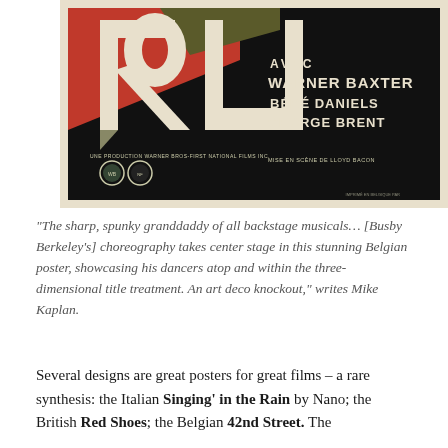[Figure (photo): A Belgian movie poster for '42nd Street' featuring bold 3D art deco lettering 'RU' in cream/white with red geometric shapes. Text reads 'AVEC WARNER BAXTER BÉBÉ DANIELS GEORGE BRENT' and 'UNE PRODUCTION WARNER BROS-FIRST NATIONAL FILMS INC.' with 'MISE EN SCÈNE DE LLOYD BACON' at the bottom right. Two circular studio logos appear at the bottom left.]
“The sharp, spunky granddaddy of all backstage musicals… [Busby Berkeley’s] choreography takes center stage in this stunning Belgian poster, showcasing his dancers atop and within the three-dimensional title treatment. An art deco knockout,” writes Mike Kaplan.
Several designs are great posters for great films – a rare synthesis: the Italian Singing’ in the Rain by Nano; the British Red Shoes; the Belgian 42nd Street. The